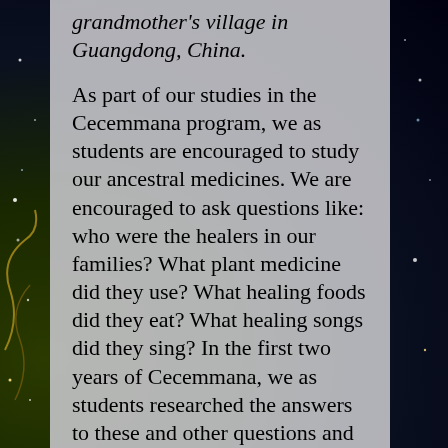grandmother's village in Guangdong, China.
As part of our studies in the Cecemmana program, we as students are encouraged to study our ancestral medicines. We are encouraged to ask questions like: who were the healers in our families? What plant medicine did they use? What healing foods did they eat? What healing songs did they sing? In the first two years of Cecemmana, we as students researched the answers to these and other questions and